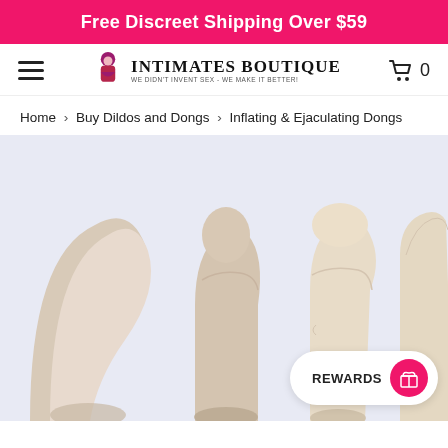Free Discreet Shipping Over $59
[Figure (logo): Intimates Boutique logo with stylized female figure and text 'WE DIDN'T INVENT SEX - WE MAKE IT BETTER!']
Home › Buy Dildos and Dongs › Inflating & Ejaculating Dongs
[Figure (photo): Product photo showing multiple phallic-shaped adult toys in beige/cream colors on a light lavender background]